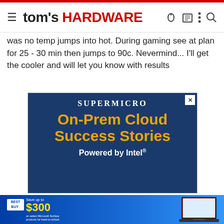tom's HARDWARE
was no temp jumps into hot. During gaming see at plan for 25 - 30 min then jumps to 90c. Nevermind... I'll get the cooler and will let you know with results
[Figure (advertisement): Supermicro advertisement: On-Prem Cloud Success Stories, Powered by Intel]
[Figure (advertisement): Best Buy advertisement: Save up to $300 on select Microsoft Surface products for back-to-school. Shop Now. Shows a laptop with a presentation.]